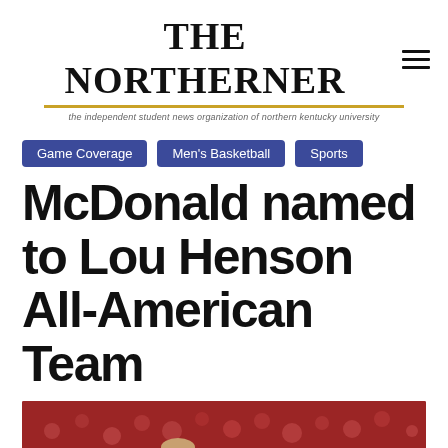THE NORTHERNER — the independent student news organization of northern kentucky university
Game Coverage
Men's Basketball
Sports
McDonald named to Lou Henson All-American Team
[Figure (photo): A basketball player in a Northern Kentucky University gold and black jersey speaks with a coach on the sideline during a game played in front of a crowd.]